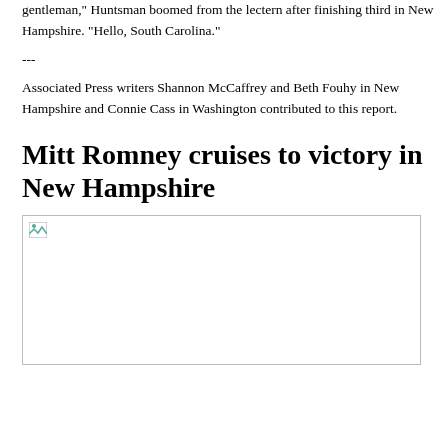gentleman," Huntsman boomed from the lectern after finishing third in New Hampshire. "Hello, South Carolina."
---
Associated Press writers Shannon McCaffrey and Beth Fouhy in New Hampshire and Connie Cass in Washington contributed to this report.
Mitt Romney cruises to victory in New Hampshire
[Figure (photo): Placeholder image (broken/missing image icon) associated with the Mitt Romney New Hampshire victory article]